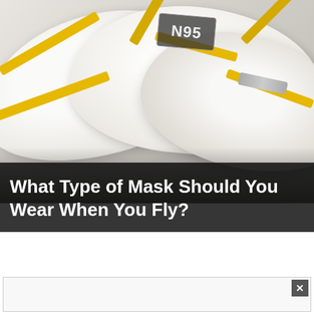[Figure (photo): Multiple white N95 respirator masks with yellow elastic straps piled together on a light surface. One mask shows the N95 label prominently. Masks have cup/dome shape typical of N95 respirators.]
What Type of Mask Should You Wear When You Fly?
[Figure (other): Advertisement box with close/dismiss button (X) in upper right corner. Light gray background with border.]